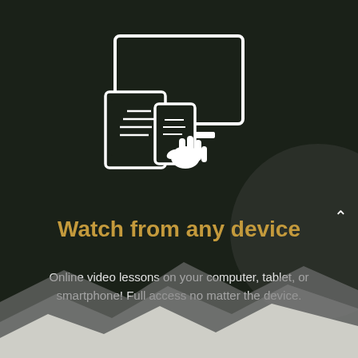[Figure (illustration): White outline icon of a desktop monitor, tablet, and smartphone with a hand cursor pointing, on a dark background]
Watch from any device
Online video lessons on your computer, tablet, or smartphone! Full access no matter the device.